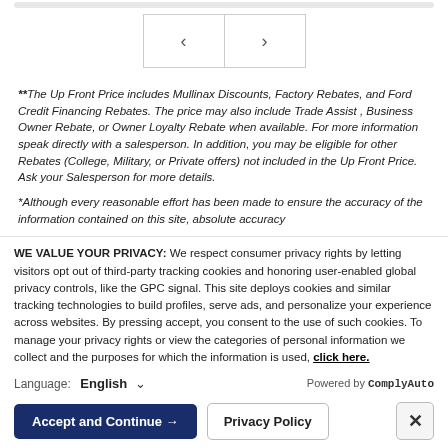[Figure (other): Navigation previous/next arrow buttons]
**The Up Front Price includes Mullinax Discounts, Factory Rebates, and Ford Credit Financing Rebates. The price may also include Trade Assist , Business Owner Rebate, or Owner Loyalty Rebate when available. For more information speak directly with a salesperson. In addition, you may be eligible for other Rebates (College, Military, or Private offers) not included in the Up Front Price. Ask your Salesperson for more details.
*Although every reasonable effort has been made to ensure the accuracy of the information contained on this site, absolute accuracy
WE VALUE YOUR PRIVACY: We respect consumer privacy rights by letting visitors opt out of third-party tracking cookies and honoring user-enabled global privacy controls, like the GPC signal. This site deploys cookies and similar tracking technologies to build profiles, serve ads, and personalize your experience across websites. By pressing accept, you consent to the use of such cookies. To manage your privacy rights or view the categories of personal information we collect and the purposes for which the information is used, click here.
Language:  English
Powered by ComplyAuto
Accept and Continue → Privacy Policy ×